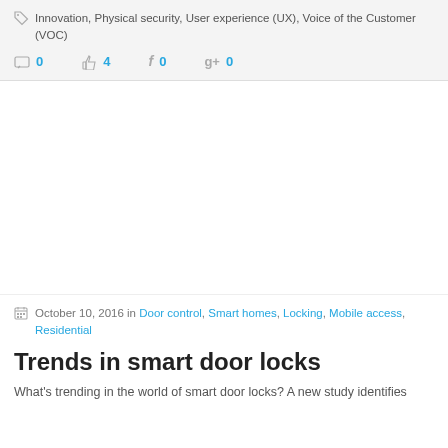Innovation, Physical security, User experience (UX), Voice of the Customer (VOC)
0  4  0  0
[Figure (photo): White/blank image placeholder area]
October 10, 2016 in Door control, Smart homes, Locking, Mobile access, Residential
Trends in smart door locks
What's trending in the world of smart door locks? A new study identifies